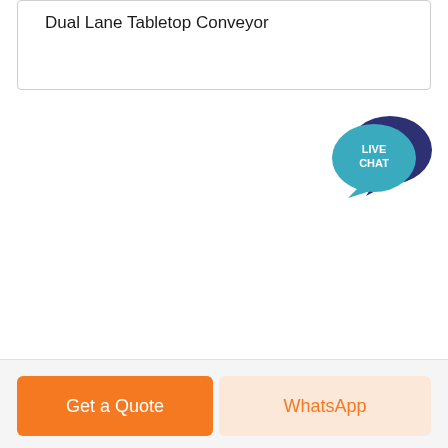Dual Lane Tabletop Conveyor
[Figure (illustration): Live Chat speech bubble icon with teal foreground bubble labeled LIVE CHAT and dark navy background bubble]
Get a Quote
WhatsApp